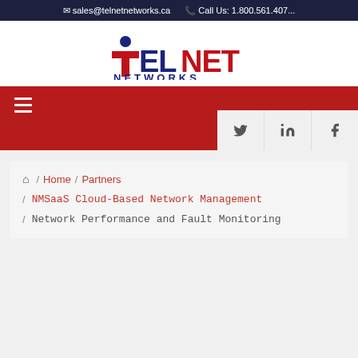sales@telnetnetworks.ca   Call Us: 1.800.561.407...
[Figure (logo): Telnet Networks logo with red stylized 't' letter and dark blue NET NETWORKS text]
[Figure (other): Red navigation bar with hamburger menu icon and social media icons (Twitter, LinkedIn, Facebook)]
Home / Partners
/ NMSaaS Cloud-Based Network Management
/ Network Performance and Fault Monitoring